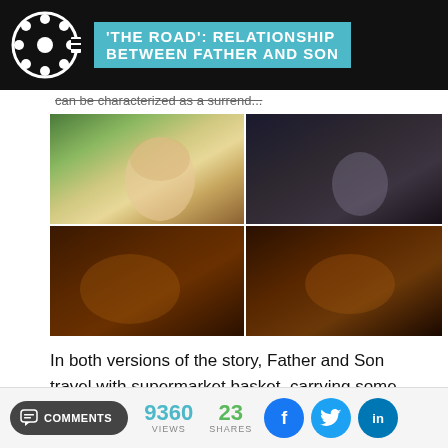'THE ROAD': RELATIONSHIP BETWEEN FATHER AND SON
can be characterized as a surrend...
[Figure (photo): Four-panel image collage from 'The Road' film: top-left shows a blonde woman in bright outdoor light; top-right shows a young boy in dark muted tones; bottom-left and bottom-right show dark warm-toned scenes with figures barely visible.]
In both versions of the story, Father and Son travel with supermarket basket, carrying some poor supplies and
COMMENTS  9360 VIEWS  23 SHARES